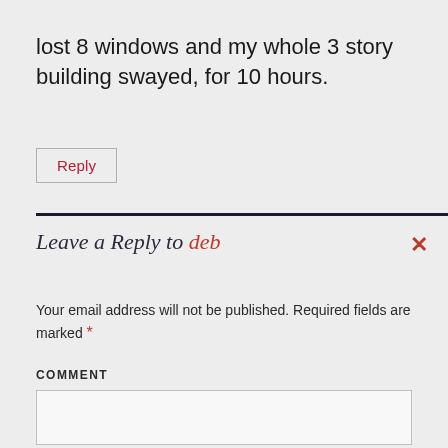lost 8 windows and my whole 3 story building swayed, for 10 hours.
Reply
Leave a Reply to deb ×
Your email address will not be published. Required fields are marked *
COMMENT